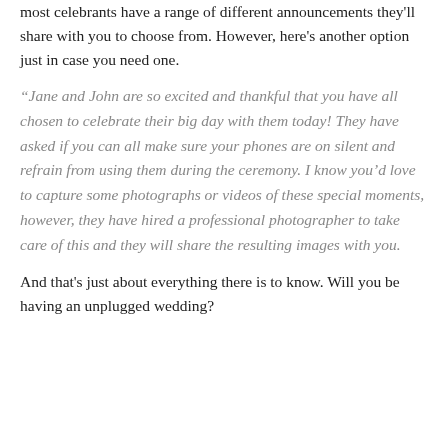most celebrants have a range of different announcements they'll share with you to choose from. However, here's another option just in case you need one.
“Jane and John are so excited and thankful that you have all chosen to celebrate their big day with them today! They have asked if you can all make sure your phones are on silent and refrain from using them during the ceremony. I know you’d love to capture some photographs or videos of these special moments, however, they have hired a professional photographer to take care of this and they will share the resulting images with you.
And that's just about everything there is to know. Will you be having an unplugged wedding?